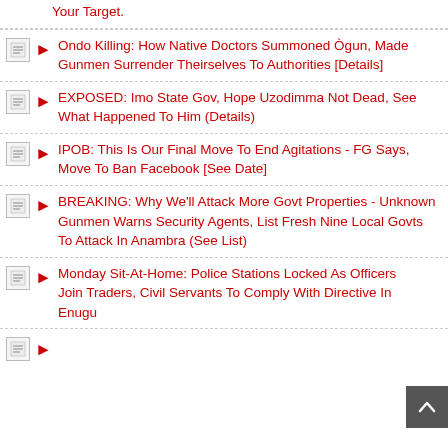Your Target.
Ondo Killing: How Native Doctors Summoned Ògun, Made Gunmen Surrender Theirselves To Authorities [Details]
EXPOSED: Imo State Gov, Hope Uzodimma Not Dead, See What Happened To Him (Details)
IPOB: This Is Our Final Move To End Agitations - FG Says, Move To Ban Facebook [See Date]
BREAKING: Why We'll Attack More Govt Properties - Unknown Gunmen Warns Security Agents, List Fresh Nine Local Govts To Attack In Anambra (See List)
Monday Sit-At-Home: Police Stations Locked As Officers Join Traders, Civil Servants To Comply With Directive In Enugu